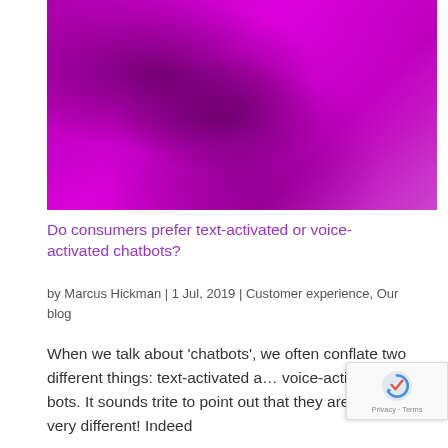[Figure (photo): Purple/magenta tinted photo of people looking at smartphones, two women visible in close-up, strong magenta color overlay]
Do consumers prefer text-activated or voice-activated chatbots?
by Marcus Hickman | 1 Jul, 2019 | Customer experience, Our blog
When we talk about ‘chatbots’, we often conflate two different things: text-activated and voice-activated bots. It sounds trite to point out that they are, in fact, very different! Indeed